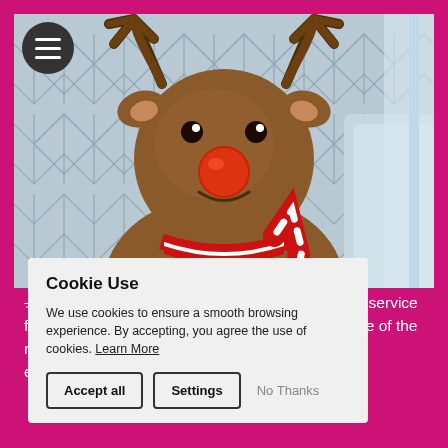[Figure (photo): A stuffed reindeer toy with brown plush fur, antlers, a red nose, and a red-and-white striped scarf, sitting in front of a patterned blanket/curtain backdrop.]
Cookie Use
We use cookies to ensure a smooth browsing experience. By accepting, you agree the use of cookies. Learn More
[Accept all] [Settings] No Thanks
Out! for live events, we provide the same great service for your virtual on-line events as well. We take care of the real-world logistics to make your virtual events as engaging as your live ones.